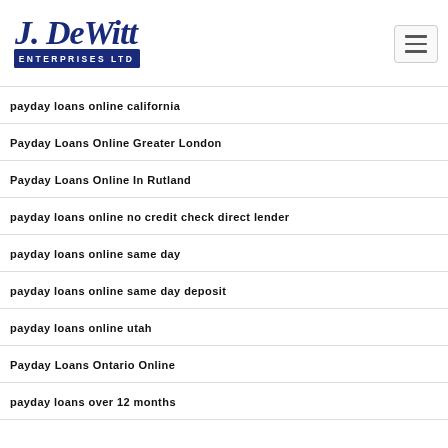[Figure (logo): J. DeWitt Enterprises Ltd logo with stylized cursive text and blue banner]
payday loans online california
Payday Loans Online Greater London
Payday Loans Online In Rutland
payday loans online no credit check direct lender
payday loans online same day
payday loans online same day deposit
payday loans online utah
Payday Loans Ontario Online
payday loans over 12 months